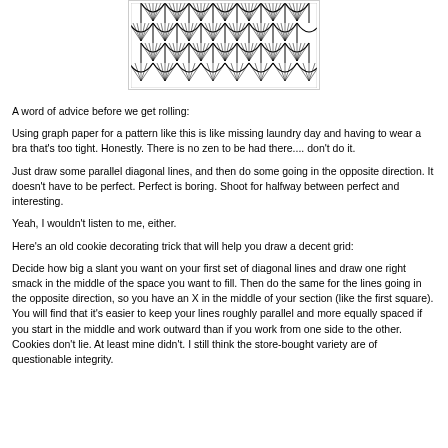[Figure (illustration): Hand-drawn zentangle/doodle pattern consisting of repeating diamond/arch shapes filled with fine parallel lines radiating downward, creating a decorative tessellation pattern in black ink on white paper.]
A word of advice before we get rolling:
Using graph paper for a pattern like this is like missing laundry day and having to wear a bra that's too tight. Honestly. There is no zen to be had there.... don't do it.
Just draw some parallel diagonal lines, and then do some going in the opposite direction. It doesn't have to be perfect. Perfect is boring. Shoot for halfway between perfect and interesting.
Yeah, I wouldn't listen to me, either.
Here's an old cookie decorating trick that will help you draw a decent grid:
Decide how big a slant you want on your first set of diagonal lines and draw one right smack in the middle of the space you want to fill. Then do the same for the lines going in the opposite direction, so you have an X in the middle of your section (like the first square). You will find that it's easier to keep your lines roughly parallel and more equally spaced if you start in the middle and work outward than if you work from one side to the other. Cookies don't lie. At least mine didn't. I still think the store-bought variety are of questionable integrity.